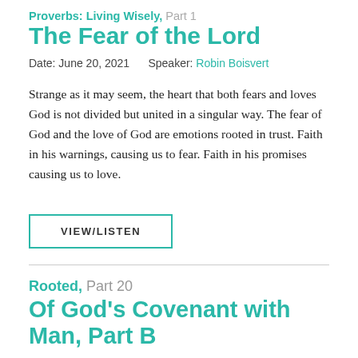Proverbs: Living Wisely, Part 1
The Fear of the Lord
Date: June 20, 2021    Speaker: Robin Boisvert
Strange as it may seem, the heart that both fears and loves God is not divided but united in a singular way. The fear of God and the love of God are emotions rooted in trust. Faith in his warnings, causing us to fear. Faith in his promises causing us to love.
VIEW/LISTEN
Rooted, Part 20
Of God's Covenant with Man, Part B